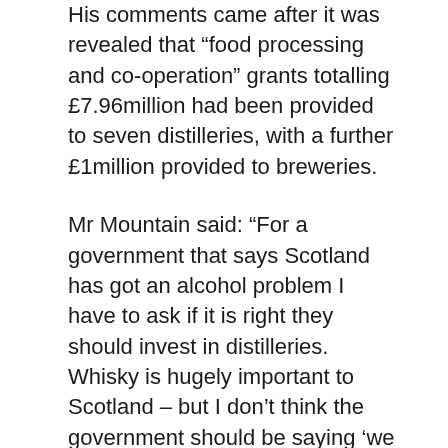His comments came after it was revealed that “food processing and co-operation” grants totalling £7.96million had been provided to seven distilleries, with a further £1million provided to breweries.
Mr Mountain said: “For a government that says Scotland has got an alcohol problem I have to ask if it is right they should invest in distilleries. Whisky is hugely important to Scotland – but I don’t think the government should be saying ‘we have a serious problem with alcohol in Scotland, we need to do this, that and the other’ – and then put public money into alcohol production.”
Distilleries and increasingly new breweries are vital industries to the economy of the Highlands and Moray, prompting a retort from a spokesman for Economy Secretary Keith Brown,